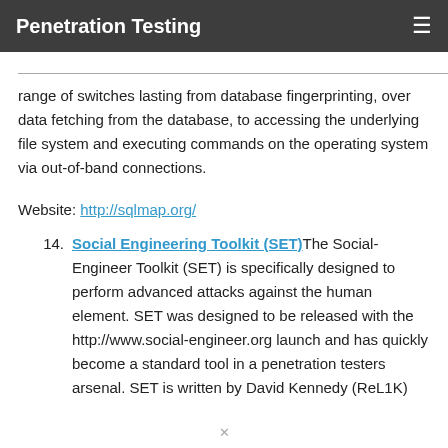Penetration Testing
range of switches lasting from database fingerprinting, over data fetching from the database, to accessing the underlying file system and executing commands on the operating system via out-of-band connections.
Website: http://sqlmap.org/
14. Social Engineering Toolkit (SET) The Social-Engineer Toolkit (SET) is specifically designed to perform advanced attacks against the human element. SET was designed to be released with the http://www.social-engineer.org launch and has quickly become a standard tool in a penetration testers arsenal. SET is written by David Kennedy (ReL1K)